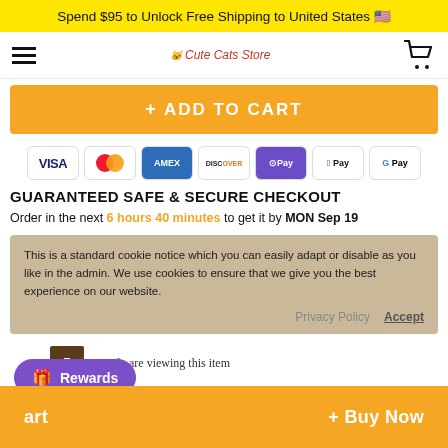Spend $95 to Unlock Free Shipping to United States 🇺🇸
[Figure (screenshot): Navigation bar with hamburger menu, Cute Cats Store logo, and shopping cart icon]
+ ADD TO CART
[Figure (infographic): Payment method icons: VISA, Mastercard, AMEX, DISCOVER, OPay, Apple Pay, Google Pay]
GUARANTEED SAFE & SECURE CHECKOUT
Order in the next 6 hours 40 minutes to get it by MON Sep 19
This is a standard cookie notice which you can easily adapt or disable as you like in the admin. We use cookies to ensure that we give you the best experience on our website.
Privacy Policy   Accept
5 people are viewing this item
Rewards
art   + Buy Now